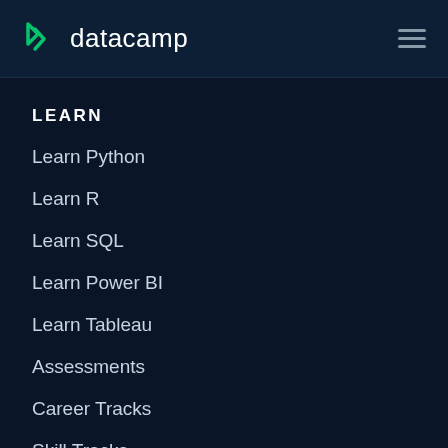datacamp
LEARN
Learn Python
Learn R
Learn SQL
Learn Power BI
Learn Tableau
Assessments
Career Tracks
Skill Tracks
Courses